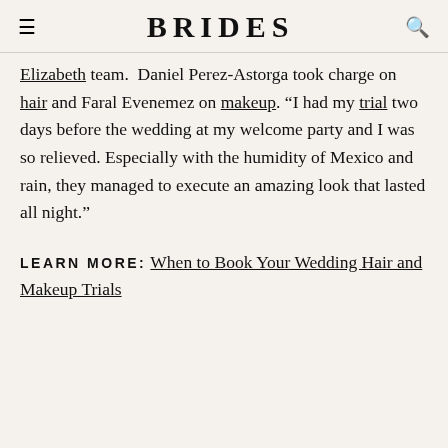BRIDES
Elizabeth team.  Daniel Perez-Astorga took charge on hair and Faral Evenemez on makeup. “I had my trial two days before the wedding at my welcome party and I was so relieved. Especially with the humidity of Mexico and rain, they managed to execute an amazing look that lasted all night.”
LEARN MORE: When to Book Your Wedding Hair and Makeup Trials